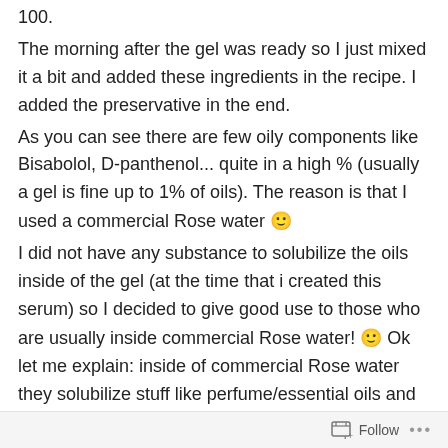100.
The morning after the gel was ready so I just mixed it a bit and added these ingredients in the recipe. I added the preservative in the end.
As you can see there are few oily components like Bisabolol, D-panthenol... quite in a high % (usually a gel is fine up to 1% of oils). The reason is that I used a commercial Rose water 🙂
I did not have any substance to solubilize the oils inside of the gel (at the time that i created this serum) so I decided to give good use to those who are usually inside commercial Rose water! 🙂 Ok let me explain: inside of commercial Rose water they solubilize stuff like perfume/essential oils and preservative (at least usually). To make the water still clear and transparent they use a bit more solubilizer than needed... you can be sure about this by shaking the bottle of the rose water: if a few bubbles form
Follow